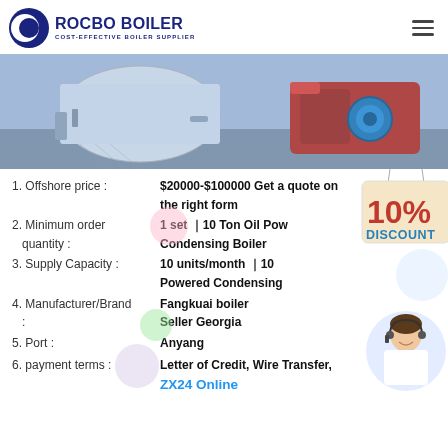[Figure (logo): Rocbo Boiler logo — circular emblem with crescent shape, company name and tagline]
[Figure (photo): Industrial boiler equipment photo showing white cylindrical boiler on left and red engine on right, blue-tinted factory setting]
1. Offshore price : $20000-$100000 Get a quote on the right form
2. Minimum order quantity : 1 set ｜10 Ton Oil Powered Condensing Boiler
3. Supply Capacity : 10 units/month ｜10 Ton Oil Powered Condensing
4. Manufacturer/Brand : Fangkuai boiler Seller Georgia
5. Port : Anyang
6. payment terms : Letter of Credit, Wire Transfer, ZX24 Online